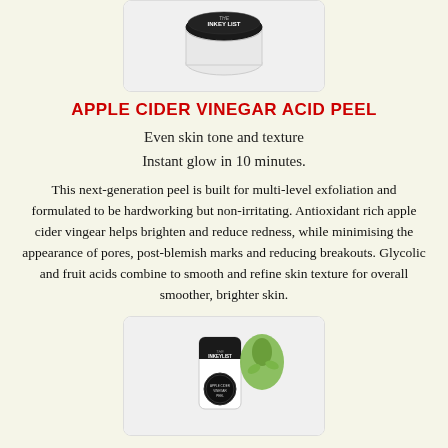[Figure (photo): Product photo of The Inkey List Apple Cider Vinegar Acid Peel jar, black lid with white container, on white background]
APPLE CIDER VINEGAR ACID PEEL
Even skin tone and texture
Instant glow in 10 minutes.
This next-generation peel is built for multi-level exfoliation and formulated to be hardworking but non-irritating. Antioxidant rich apple cider vingear helps brighten and reduce redness, while minimising the appearance of pores, post-blemish marks and reducing breakouts. Glycolic and fruit acids combine to smooth and refine skin texture for overall smoother, brighter skin.
[Figure (photo): Product photo of The Inkey List tube with green avocado or similar ingredient illustration, circular label, on white background]